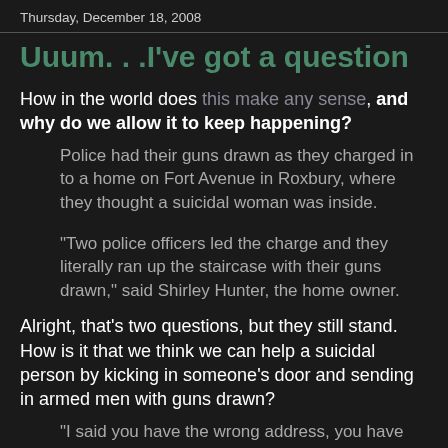Thursday, December 18, 2008
Uuum. . .I've got a question
How in the world does this make any sense, and why do we allow it to keep happening?
Police had their guns drawn as they charged in to a home on Fort Avenue in Roxbury, where they thought a suicidal woman was inside.
"Two police officers led the charge and they literally ran up the staircase with their guns drawn," said Shirley Hunter, the home owner.
Alright, that's two questions, but they still stand. How is it that we think we can help a suicidal person by kicking in someone's door and sending in armed men with guns drawn?
"I said you have the wrong address, you have the wrong address, and they were really pumped up," Hunter said.